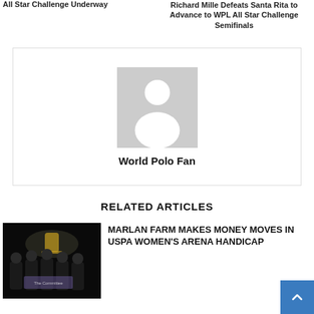All Star Challenge Underway
Richard Mille Defeats Santa Rita to Advance to WPL All Star Challenge Semifinals
[Figure (illustration): Generic user avatar placeholder image — grey background with white silhouette of a person]
World Polo Fan
RELATED ARTICLES
[Figure (photo): Dark nighttime photo showing group of people holding a large trophy and a check, celebrating a polo tournament win]
MARLAN FARM MAKES MONEY MOVES IN USPA WOMEN'S ARENA HANDICAP